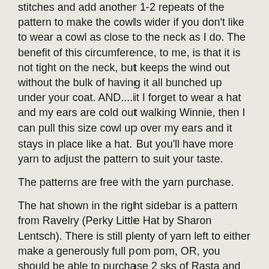stitches and add another 1-2 repeats of the pattern to make the cowls wider if you don't like to wear a cowl as close to the neck as I do. The benefit of this circumference, to me, is that it is not tight on the neck, but keeps the wind out without the bulk of having it all bunched up under your coat. AND....it I forget to wear a hat and my ears are cold out walking Winnie, then I can pull this size cowl up over my ears and it stays in place like a hat. But you'll have more yarn to adjust the pattern to suit your taste.
The patterns are free with the yarn purchase.
The hat shown in the right sidebar is a pattern from Ravelry (Perky Little Hat by Sharon Lentsch). There is still plenty of yarn left to either make a generously full pom pom, OR, you should be able to purchase 2 sks of Rasta and make 3 hats: 2 hats will be of one color each and then with the leftover from the first two hats, you will have yarn to knit a bi-color hat!